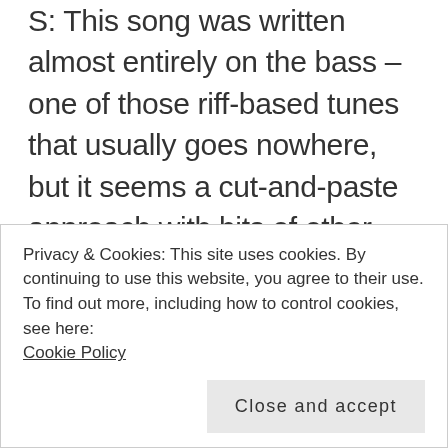S: This song was written almost entirely on the bass – one of those riff-based tunes that usually goes nowhere, but it seems a cut-and-paste approach with bits of other foetal songs yielded an unexpected result. The howling crescendo of guitars 4 bars in from the start is a blatant attempt at emulating the assault of Sonic Youth, but as with any of our musical Jackdaw-isms it always ends up sounding like something else. All the extra arrangement on this track is lifted directly from the shit Garageband demo done on a phone, including
Privacy & Cookies: This site uses cookies. By continuing to use this website, you agree to their use. To find out more, including how to control cookies, see here: Cookie Policy
Close and accept